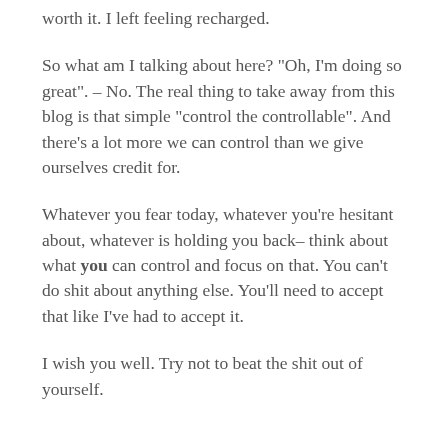worth it. I left feeling recharged.
So what am I talking about here? "Oh, I'm doing so great". – No. The real thing to take away from this blog is that simple "control the controllable". And there's a lot more we can control than we give ourselves credit for.
Whatever you fear today, whatever you're hesitant about, whatever is holding you back– think about what you can control and focus on that. You can't do shit about anything else. You'll need to accept that like I've had to accept it.
I wish you well. Try not to beat the shit out of yourself.